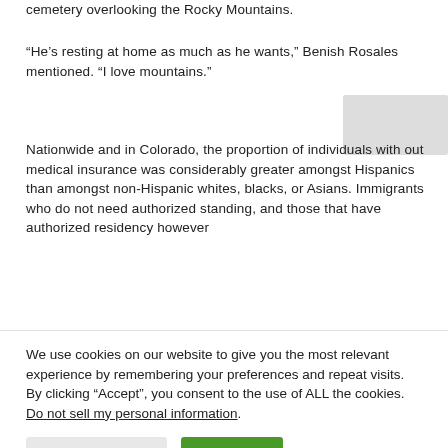cemetery overlooking the Rocky Mountains.
“He’s resting at home as much as he wants,” Benish Rosales mentioned. “I love mountains.”
Nationwide and in Colorado, the proportion of individuals with out medical insurance was considerably greater amongst Hispanics than amongst non-Hispanic whites, blacks, or Asians. Immigrants who do not need authorized standing, and those that have authorized residency however
We use cookies on our website to give you the most relevant experience by remembering your preferences and repeat visits. By clicking “Accept”, you consent to the use of ALL the cookies. Do not sell my personal information.
Cookie Settings
Accept